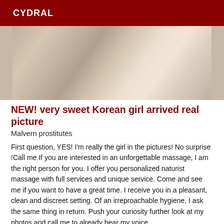CYDRAL
[Figure (photo): Close-up photo of fabric/cloth with a person's arm or body, beige and white tones]
NEW! very sweet Korean girl arrived real picture
Malvern prostitutes
First question, YES! I'm really the girl in the pictures! No surprise !Call me If you are interested in an unforgettable massage, I am the right person for you. I offer you personalized naturist massage with full services and unique service. Come and see me if you want to have a great time. I receive you in a pleasant, clean and discreet setting. Of an irreproachable hygiene, I ask the same thing in return. Push your curiosity further look at my photos and call me to already hear my voice.